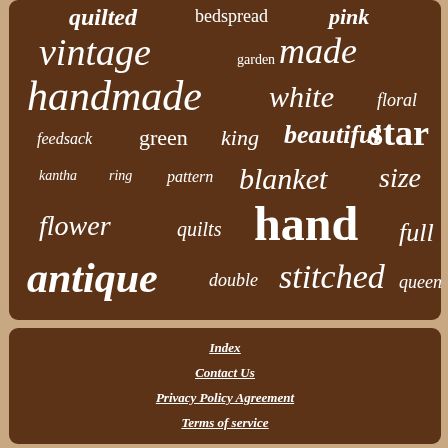[Figure (other): Word cloud on brown background with quilt-related terms: quilted, bedspread, pink, vintage, made, garden, handmade, white, floral, feedsack, green, king, beautiful, star, kantha, ring, pattern, blanket, size, flower, quilts, hand, full, antique, double, stitched, queen]
Index
Contact Us
Privacy Policy Agreement
Terms of service